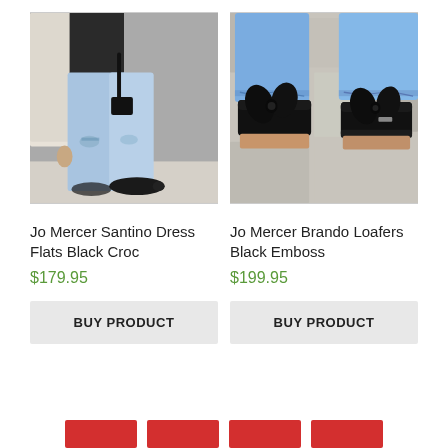[Figure (photo): Fashion photo of person wearing ripped light-wash jeans, black top, cream coat, and black pointed-toe dress flats on a street]
Jo Mercer Santino Dress Flats Black Croc
$179.95
BUY PRODUCT
[Figure (photo): Close-up photo of feet wearing black embossed loafers with large black satin bow detail, with ripped denim jeans, on stone ground]
Jo Mercer Brando Loafers Black Emboss
$199.95
BUY PRODUCT